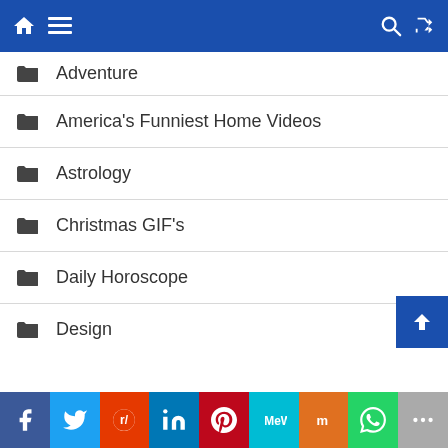Navigation header with home, menu, search, shuffle icons
Adventure
America's Funniest Home Videos
Astrology
Christmas GIF's
Daily Horoscope
Design
Diwali GIF's
Entertainment
Fashion
Festival Images and GIF'S
Fitness
[Figure (screenshot): Social share bar with Facebook, Twitter, Reddit, LinkedIn, Pinterest, MeWe, Mix, WhatsApp, More buttons]